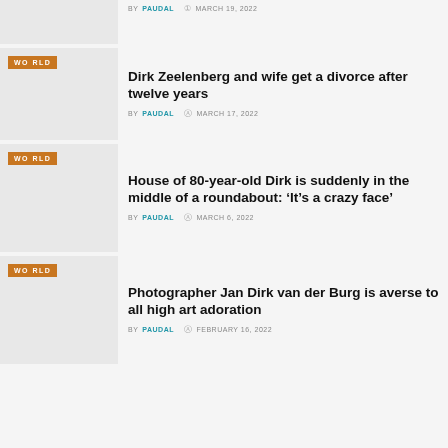BY PAUDAL  MARCH 19, 2022
[Figure (photo): Thumbnail image placeholder]
Dirk Zeelenberg and wife get a divorce after twelve years
BY PAUDAL  MARCH 17, 2022
[Figure (photo): Thumbnail image placeholder with WORLD badge]
House of 80-year-old Dirk is suddenly in the middle of a roundabout: ‘It’s a crazy face’
BY PAUDAL  MARCH 6, 2022
[Figure (photo): Thumbnail image placeholder with WORLD badge]
Photographer Jan Dirk van der Burg is averse to all high art adoration
BY PAUDAL  FEBRUARY 16, 2022